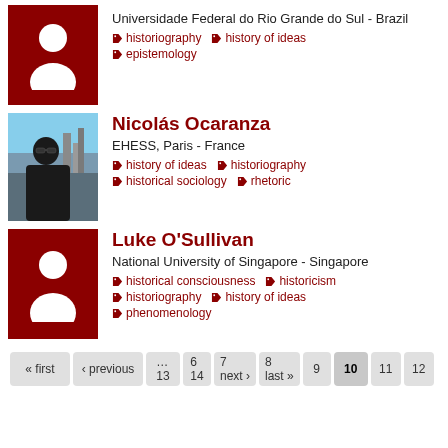[Figure (photo): Placeholder avatar with dark red background and white silhouette person icon]
Universidade Federal do Rio Grande do Sul - Brazil
historiography
history of ideas
epistemology
[Figure (photo): Photo of Nicolás Ocaranza wearing sunglasses outdoors with city skyline]
Nicolás Ocaranza
EHESS, Paris - France
history of ideas
historiography
historical sociology
rhetoric
[Figure (photo): Placeholder avatar with dark red background and white silhouette person icon]
Luke O'Sullivan
National University of Singapore - Singapore
historical consciousness
historicism
historiography
history of ideas
phenomenology
« first ‹ previous … 6 7 8 9 10 11 12 13 14 next › last »